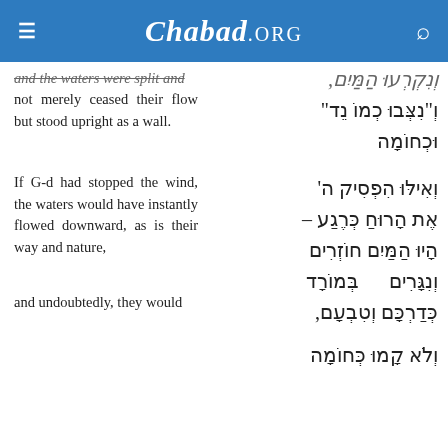Chabad.ORG
and the waters were split and not merely ceased their flow but stood upright as a wall.
וְנִקְרְעוּ הַמַּיִם, וְ"נִצְּבוּ כְמוֹ נֵד" וּכְחוֹמָה
If G-d had stopped the wind, the waters would have instantly flowed downward, as is their way and nature,
וְאִילּוּ הִפְסִיק ה' אֶת הָרוּחַ כְּרֶגַע – הָיוּ הַמַּיִם חוֹזְרִים וְנִגָּרִים בְּמוֹרָד כְּדַרְכָּם וְטִבְעָם,
and undoubtedly, they would
וְלֹא קָמוּ כְּחוֹמָה